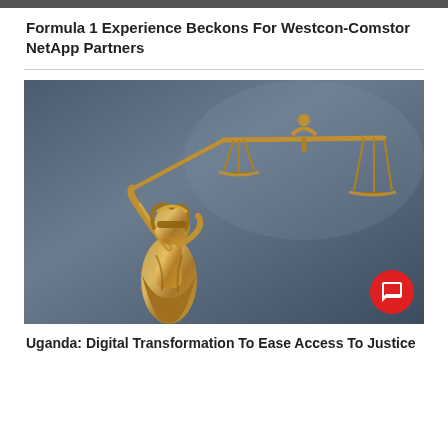Formula 1 Experience Beckons For Westcon-Comstor NetApp Partners
[Figure (photo): Gold bronze statue of Lady Justice (Themis/Justitia) holding scales of justice, blindfolded, against a blue-grey background.]
Uganda: Digital Transformation To Ease Access To Justice